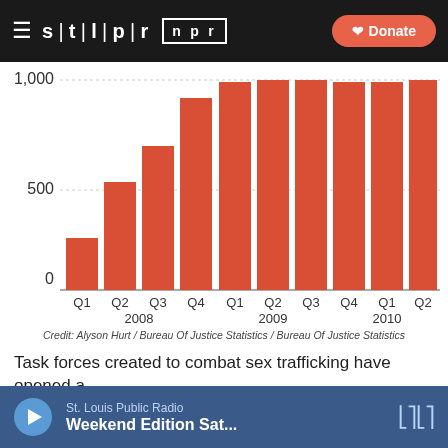STLPR NPR — Donate
[Figure (bar-chart): ]
Credit: Alyson Hurt / Bureau Of Justice Statistics / Bureau Of Justice Statistics
Task forces created to combat sex trafficking have opened a
St. Louis Public Radio — Weekend Edition Sat...